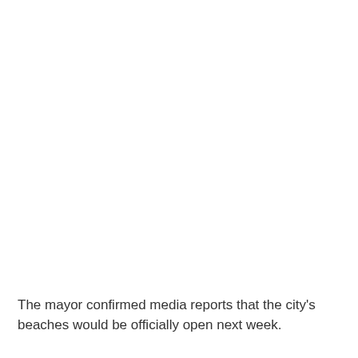The mayor confirmed media reports that the city's beaches would be officially open next week.